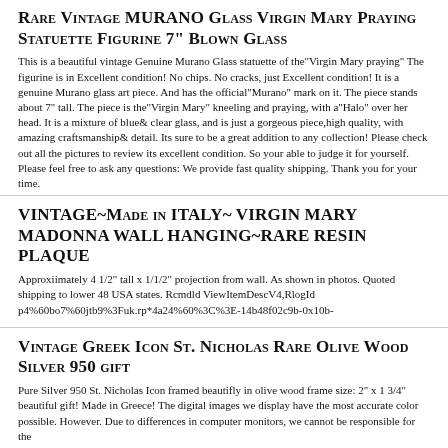Rare Vintage MURANO Glass Virgin Mary Praying Statuette Figurine 7" Blown Glass
This is a beautiful vintage Genuine Murano Glass statuette of the"Virgin Mary praying" The figurine is in Excellent condition! No chips. No cracks, just Excellent condition! It is a genuine Murano glass art piece. And has the official"Murano" mark on it. The piece stands about 7" tall. The piece is the"Virgin Mary" kneeling and praying, with a"Halo" over her head. It is a mixture of blue& clear glass, and is just a gorgeous piece,high quality, with amazing craftsmanship& detail. Its sure to be a great addition to any collection! Please check out all the pictures to review its excellent condition. So your able to judge it for yourself. Please feel free to ask any questions: We provide fast quality shipping. Thank you for your time.
VINTAGE~Made in ITALY~ VIRGIN MARY MADONNA WALL HANGING~RARE RESIN PLAQUE
Approxiimately 4 1/2" tall x 1/1/2" projection from wall. As shown in photos. Quoted shipping to lower 48 USA states. Rcmdld ViewItemDescV4,RlogId p4%60bo7%60jtb9%3Fuk.rp*4a24%60%3C%3E-14b48f02c9b-0x10b-
Vintage Greek Icon St. Nicholas Rare Olive Wood Silver 950 gift
Pure Silver 950 St. Nicholas Icon framed beautifly in olive wood frame size: 2" x 1 3/4" beautiful gift! Made in Greece! The digital images we display have the most accurate color possible. However. Due to differences in computer monitors, we cannot be responsible for the